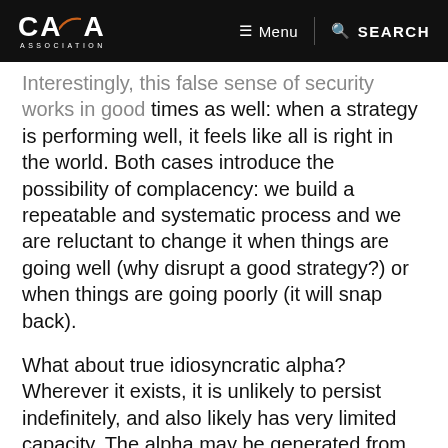CAIA ASSOCIATION | Menu | SEARCH
Interestingly, this false sense of security works in good times as well: when a strategy is performing well, it feels like all is right in the world. Both cases introduce the possibility of complacency: we build a repeatable and systematic process and we are reluctant to change it when things are going well (why disrupt a good strategy?) or when things are going poorly (it will snap back).
What about true idiosyncratic alpha? Wherever it exists, it is unlikely to persist indefinitely, and also likely has very limited capacity. The alpha may be generated from an operational advantage, a temporary dislocation in the market, or an insight or dataset that has not been commoditised or popularised. But the nature of true alpha is that it will decay and so monitoring alpha decay and correlation structures are critical. To do this well, and at scale, one